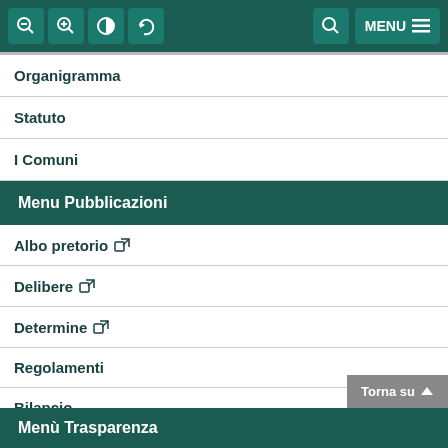Navigation toolbar with zoom, contrast, reset, search, and menu icons
Organigramma
Statuto
I Comuni
Menu Pubblicazioni
Albo pretorio [external link]
Delibere [external link]
Determine [external link]
Regolamenti
Bilancio
Amministrazione trasparente
Menù Trasparenza